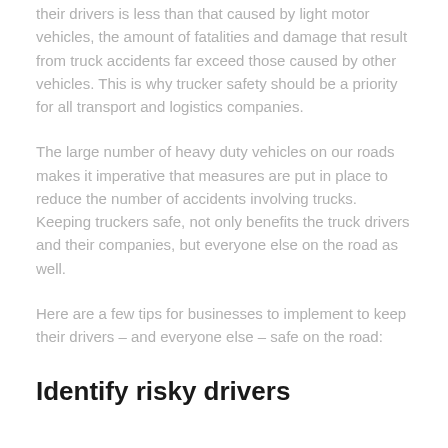their drivers is less than that caused by light motor vehicles, the amount of fatalities and damage that result from truck accidents far exceed those caused by other vehicles. This is why trucker safety should be a priority for all transport and logistics companies.
The large number of heavy duty vehicles on our roads makes it imperative that measures are put in place to reduce the number of accidents involving trucks. Keeping truckers safe, not only benefits the truck drivers and their companies, but everyone else on the road as well.
Here are a few tips for businesses to implement to keep their drivers – and everyone else – safe on the road:
Identify risky drivers